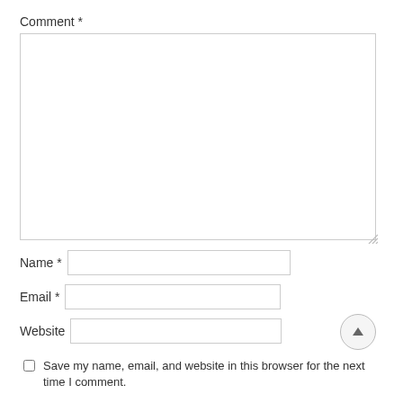Comment *
[Figure (screenshot): Empty comment textarea input box]
Name *
[Figure (screenshot): Name text input field]
Email *
[Figure (screenshot): Email text input field]
Website
[Figure (screenshot): Website text input field with scroll-to-top button]
Save my name, email, and website in this browser for the next time I comment.